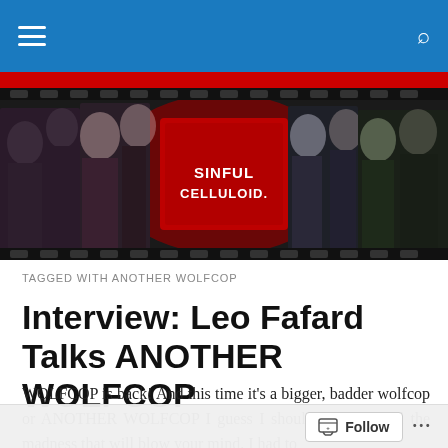Navigation bar with hamburger menu and search icon
[Figure (illustration): Sinful Celluloid website banner showing horror movie characters and cast photos in a dark collage with the 'Sinful Celluloid' logo in center]
TAGGED WITH ANOTHER WOLFCOP
Interview: Leo Fafard Talks ANOTHER WOLFCOP
WOLFCOP is back! And this time it’s a bigger, badder wolfcop or ANOTHER WOLFCOP I guess I should say. With all the madness that will blow your mind, I had to
Follow